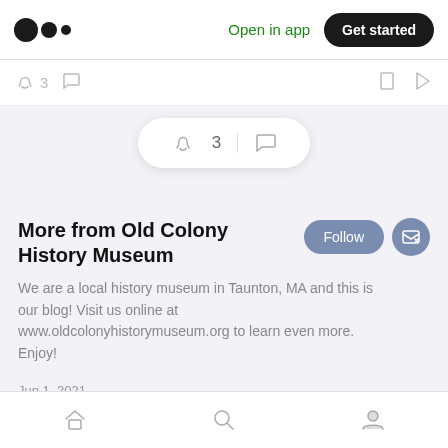Open in app | Get started
[Figure (screenshot): Medium logo on top left nav bar]
3
[Figure (screenshot): Floating pill with clap icon showing 3 and comment icon]
More from Old Colony History Museum
We are a local history museum in Taunton, MA and this is our blog! Visit us online at www.oldcolonyhistorymuseum.org to learn even more. Enjoy!
Jun 1, 2021
Ralph Moody, Racing Hall of Famer
[Figure (photo): Black and white checkered photo thumbnail of person]
Home | Search | Profile